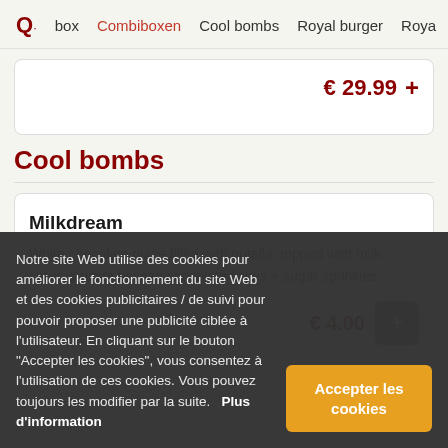Q · box   Combiboxen   Cool bombs   Royal burger   Roya
€ 29.99 +
Cool bombs
Milkdream
White chocolate glaze filled with nutella, topped with milk slices & white belgian chocolate flakes + sugar sprinkles.
€ 4.00 +
Notre site Web utilise des cookies pour améliorer le fonctionnement du site Web et des cookies publicitaires / de suivi pour pouvoir proposer une publicité ciblée à l'utilisateur. En cliquant sur le bouton "Accepter les cookies", vous consentez à l'utilisation de ces cookies. Vous pouvez toujours les modifier par la suite.   Plus d'information
Accepter les cookies